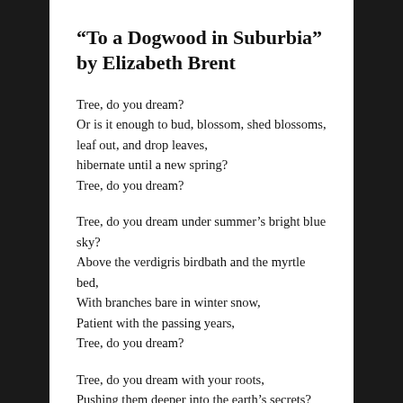“To a Dogwood in Suburbia” by Elizabeth Brent
Tree, do you dream?
Or is it enough to bud, blossom, shed blossoms,
leaf out, and drop leaves,
hibernate until a new spring?
Tree, do you dream?
Tree, do you dream under summer’s bright blue sky?
Above the verdigris birdbath and the myrtle bed,
With branches bare in winter snow,
Patient with the passing years,
Tree, do you dream?
Tree, do you dream with your roots,
Pushing them deeper into the earth’s secrets?
Would you extend your limbs beyond the yard?
How far and in which…